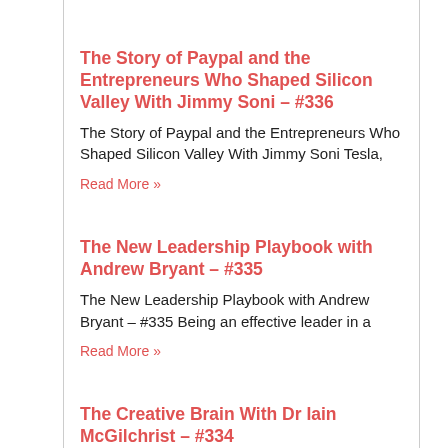The Story of Paypal and the Entrepreneurs Who Shaped Silicon Valley With Jimmy Soni – #336
The Story of Paypal and the Entrepreneurs Who Shaped Silicon Valley With Jimmy Soni Tesla,
Read More »
The New Leadership Playbook with Andrew Bryant – #335
The New Leadership Playbook with Andrew Bryant – #335 Being an effective leader in a
Read More »
The Creative Brain With Dr Iain McGilchrist – #334
The Creative Brain With Dr Iain McGilchrist – #334 My guest today says that in